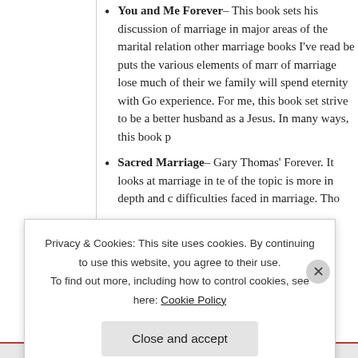You and Me Forever– This book sets his discussion of marriage in major areas of the marital relation other marriage books I've read be puts the various elements of marr of marriage lose much of their we family will spend eternity with Go experience. For me, this book set strive to be a better husband as a Jesus. In many ways, this book p
Sacred Marriage– Gary Thomas' Forever. It looks at marriage in te of the topic is more in depth and c difficulties faced in marriage. Tho Je x
Privacy & Cookies: This site uses cookies. By continuing to use this website, you agree to their use. To find out more, including how to control cookies, see here: Cookie Policy
Close and accept